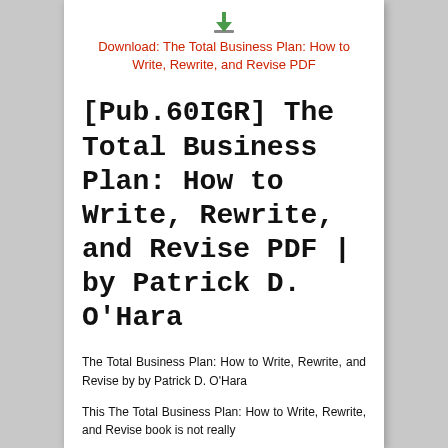Download: The Total Business Plan: How to Write, Rewrite, and Revise PDF
[Pub.60IGR] The Total Business Plan: How to Write, Rewrite, and Revise PDF | by Patrick D. O'Hara
The Total Business Plan: How to Write, Rewrite, and Revise by by Patrick D. O'Hara
This The Total Business Plan: How to Write, Rewrite, and Revise book is not really